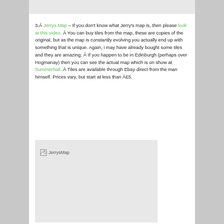[Figure (other): Top image placeholder (partially visible, light gray)]
3.Â Jerrys Map – If you don't know what Jerry's map is, then please look at this video. Â You can buy tiles from the map, these are copies of the original, but as the map is constantly evolving you actually end up with something that is unique. Again, i may have already bought some tiles and they are amazing. Â If you happen to be in Edinburgh (perhaps over Hogmanay) then you can see the actual map which is on show at Summerhall. Â Tiles are available through Ebay direct from the man himself. Prices vary, but start at less than Â£5.
[Figure (photo): JerrysMap image (broken/missing image placeholder showing 'JerrysMap' alt text)]